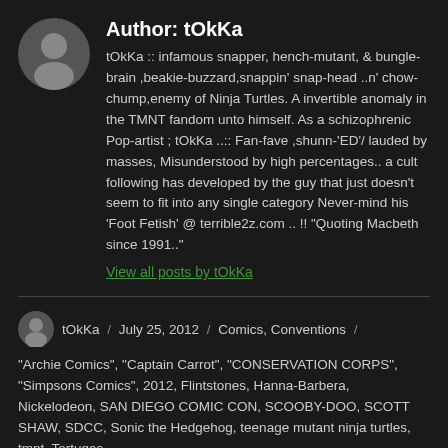Author: tOkKa
tOkKa :: infamous snapper, hench-mutant, & bungle-brain ,beakie-buzzard,snappin' snap-head ..n' chow-chump,enemy of Ninja Turtles. A invertible anomaly in the TMNT fandom unto himself. As a schizophrenic Pop-artist ; tOkKa ..:: Fan-fave ,shunn-'ED'/ lauded by masses, Misunderstood by high percentages.. a cult following has developed by the guy that just doesn't seem to fit into any single category Never-mind his 'Foot Fetish' @ terrible2z.com .. !! "Quoting Macbeth since 1991.."
View all posts by tOkKa
tOkKa / July 25, 2012 / Comics, Conventions / "Archie Comics", "Captain Carrot", "CONSERVATION CORPS", "Simpsons Comics", 2012, Flintstones, Hanna-Barbera, Nickelodeon, SAN DIEGO COMIC CON, SCOOBY-DOO, SCOTT SHAW, SDCC, Sonic the Hedgehog, teenage mutant ninja turtles, tmnt, Tortugas